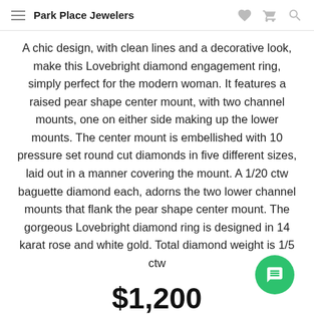Park Place Jewelers
A chic design, with clean lines and a decorative look, make this Lovebright diamond engagement ring, simply perfect for the modern woman. It features a raised pear shape center mount, with two channel mounts, one on either side making up the lower mounts. The center mount is embellished with 10 pressure set round cut diamonds in five different sizes, laid out in a manner covering the mount. A 1/20 ctw baguette diamond each, adorns the two lower channel mounts that flank the pear shape center mount. The gorgeous Lovebright diamond ring is designed in 14 karat rose and white gold. Total diamond weight is 1/5 ctw
$1,200